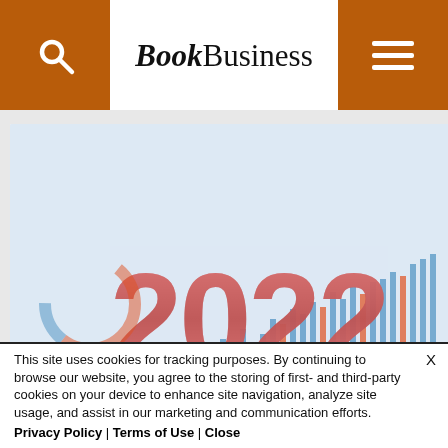BookBusiness
[Figure (photo): Promotional image with '2022' in large red text overlaid on business charts and graphs with a red upward arrow]
The Powerful Case for US Book
A Po
This site uses cookies for tracking purposes. By continuing to browse our website, you agree to the storing of first- and third-party cookies on your device to enhance site navigation, analyze site usage, and assist in our marketing and communication efforts.
Privacy Policy | Terms of Use | Close